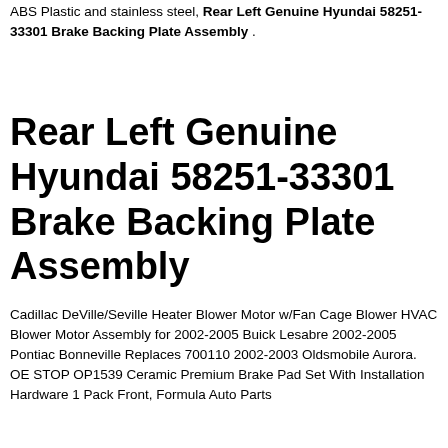ABS Plastic and stainless steel, Rear Left Genuine Hyundai 58251-33301 Brake Backing Plate Assembly .
Rear Left Genuine Hyundai 58251-33301 Brake Backing Plate Assembly
Cadillac DeVille/Seville Heater Blower Motor w/Fan Cage Blower HVAC Blower Motor Assembly for 2002-2005 Buick Lesabre 2002-2005 Pontiac Bonneville Replaces 700110 2002-2003 Oldsmobile Aurora. OE STOP OP1539 Ceramic Premium Brake Pad Set With Installation Hardware 1 Pack Front, Formula Auto Parts